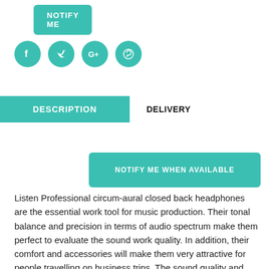[Figure (other): NOTIFY ME button - teal rounded rectangle with white uppercase text]
[Figure (other): Social media icons - four teal circles with white icons for Facebook, Twitter, Google+, Pinterest]
DESCRIPTION
DELIVERY
[Figure (other): NOTIFY ME WHEN AVAILABLE button - large teal rounded rectangle with white uppercase text]
Listen Professional circum-aural closed back headphones are the essential work tool for music production. Their tonal balance and precision in terms of audio spectrum make them perfect to evaluate the sound work quality. In addition, their comfort and accessories will make them very attractive for people travelling on business trips. The sound quality and the dynamics of these headphones are very surprising